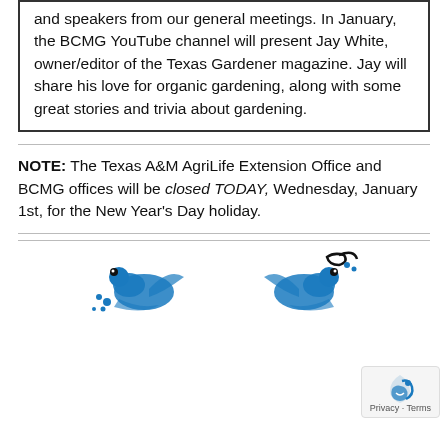and speakers from our general meetings. In January, the BCMG YouTube channel will present Jay White, owner/editor of the Texas Gardener magazine. Jay will share his love for organic gardening, along with some great stories and trivia about gardening.
NOTE: The Texas A&M AgriLife Extension Office and BCMG offices will be closed TODAY, Wednesday, January 1st, for the New Year's Day holiday.
[Figure (illustration): Two decorative illustrated logos/graphics at the bottom of the page, partially visible, in blue and black ink style.]